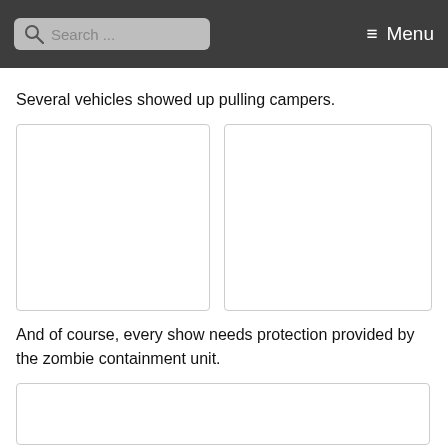Search ... Menu
Several vehicles showed up pulling campers.
[Figure (photo): Two empty image placeholders side by side (vehicles/campers photos)]
And of course, every show needs protection provided by the zombie containment unit.
[Figure (photo): Wide empty image placeholder (zombie containment unit photo)]